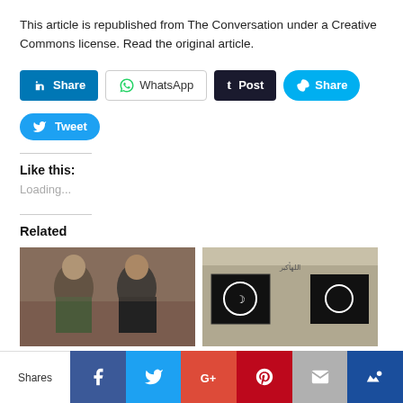This article is republished from The Conversation under a Creative Commons license. Read the original article.
[Figure (screenshot): Social media share buttons: LinkedIn Share, WhatsApp, Tumblr Post, Skype Share, Twitter Tweet]
Like this:
Loading...
Related
[Figure (photo): Two men seated, one wearing camouflage, one in dark jacket, black flag visible]
[Figure (photo): Building exterior with ISIS/ISIL black flags and Arabic text graffiti]
[Figure (screenshot): Bottom share bar with Facebook, Twitter, Google+, Pinterest, Email, Crown icons and Shares label]